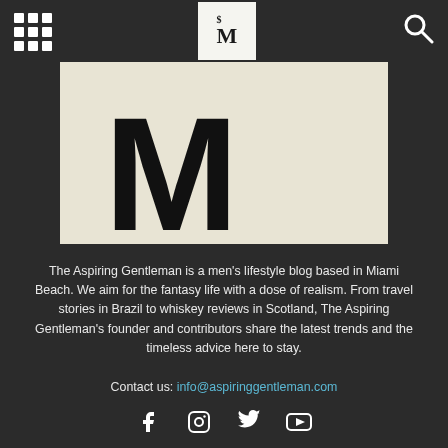Navigation bar with grid menu, logo, and search icon
[Figure (logo): Large stylized letter M on cream/beige background — the Aspiring Gentleman logo]
The Aspiring Gentleman is a men’s lifestyle blog based in Miami Beach. We aim for the fantasy life with a dose of realism. From travel stories in Brazil to whiskey reviews in Scotland, The Aspiring Gentleman’s founder and contributors share the latest trends and the timeless advice here to stay.
Contact us: info@aspiringgentleman.com
[Figure (infographic): Social media icons: Facebook, Instagram, Twitter, YouTube]